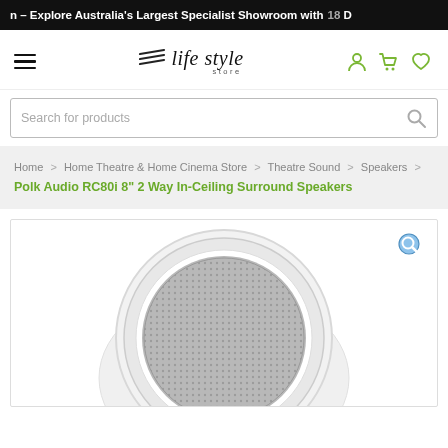n – Explore Australia's Largest Specialist Showroom with 18 D
[Figure (logo): Life Style Store logo with three diagonal lines and serif italic text]
Search for products
Home > Home Theatre & Home Cinema Store > Theatre Sound > Speakers > Polk Audio RC80i 8" 2 Way In-Ceiling Surround Speakers
[Figure (photo): Polk Audio RC80i 8" 2 Way In-Ceiling Surround Speaker, circular white-framed speaker with grey mesh grille, viewed from below/front, with zoom magnifier icon in top right corner]